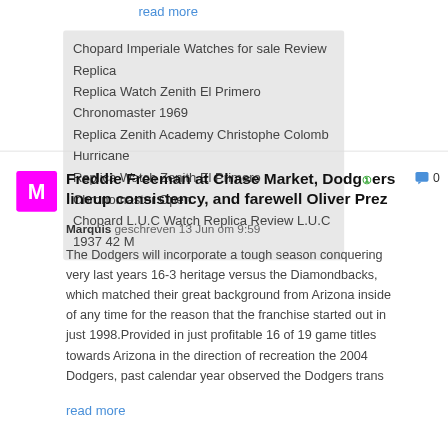read more
Chopard Imperiale Watches for sale Review Replica
Replica Watch Zenith El Primero Chronomaster 1969
Replica Zenith Academy Christophe Colomb Hurricane
Replica Watch Zenith El Primero Chronomaster Open
Chopard L.U.C Watch Replica Review L.U.C 1937 42 M
Freddie Freeman at Chase Market, Dodgers lineup consistency, and farewell Oliver Prez
Marquis  geschreven 13 Jun om 9:59
The Dodgers will incorporate a tough season conquering very last years 16-3 heritage versus the Diamondbacks, which matched their great background from Arizona inside of any time for the reason that the franchise started out in just 1998.Provided in just profitable 16 of 19 game titles towards Arizona in the direction of recreation the 2004 Dodgers, past calendar year observed the Dodgers trans
read more